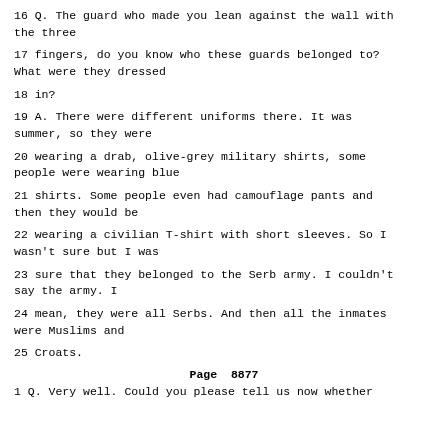16 Q. The guard who made you lean against the wall with the three
17 fingers, do you know who these guards belonged to? What were they dressed
18 in?
19 A. There were different uniforms there. It was summer, so they were
20 wearing a drab, olive-grey military shirts, some people were wearing blue
21 shirts. Some people even had camouflage pants and then they would be
22 wearing a civilian T-shirt with short sleeves. So I wasn't sure but I was
23 sure that they belonged to the Serb army. I couldn't say the army. I
24 mean, they were all Serbs. And then all the inmates were Muslims and
25 Croats.
Page 8877
1 Q. Very well. Could you please tell us now whether